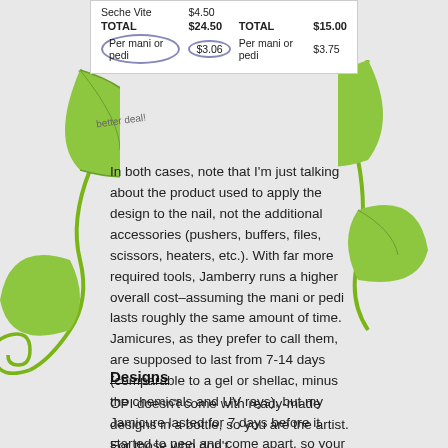|  |  | TOTAL | $15.00 |
| --- | --- | --- | --- |
| Seche Vite | $4.50 |  |  |
| TOTAL | $24.50 | TOTAL | $15.00 |
| Per mani or pedi | $3.06 | Per mani or pedi | $3.75 |
In both cases, note that I'm just talking about the product used to apply the design to the nail, not the additional accessories (pushers, buffers, files, scissors, heaters, etc.). With far more required tools, Jamberry runs a higher overall cost–assuming the mani or pedi lasts roughly the same amount of time. Jamicures, as they prefer to call them, are supposed to last from 7-14 days (comparable to a gel or shellac, minus the chemicals and UV rays), but my Jamicure lasted for 7 days before it started to peel and come apart, so your mileage (as always) may vary.
Designs
OPI doesn't come with ready-made designs in a bottle, so you are the artist. For those who don't